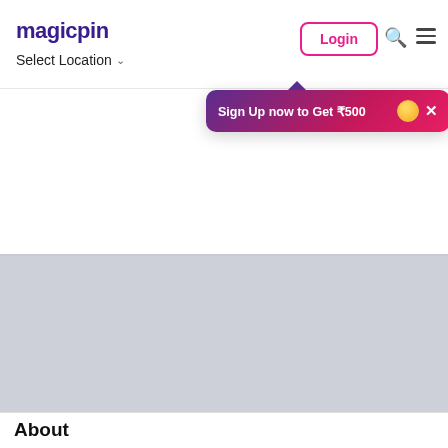magicpin
Select Location
Login
Sign Up now to Get ₹500
About